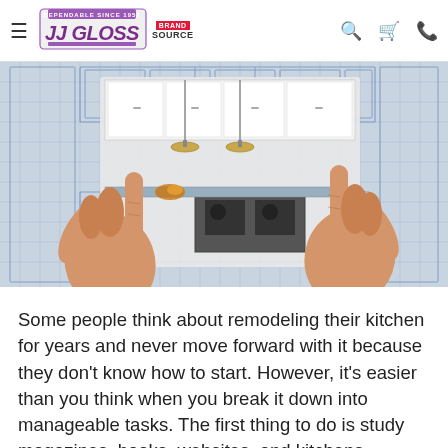JJ Gloss — Dependable Since 1952 | Brand Source
[Figure (photo): Hands framing a kitchen remodel concept image, showing a modern kitchen with white cabinets, pendant lights, and a stove, overlaid on a blueprint drawing of the same kitchen.]
Some people think about remodeling their kitchen for years and never move forward with it because they don't know how to start. However, it's easier than you think when you break it down into manageable tasks. The first thing to do is study magazines, books, websites, and kitchens